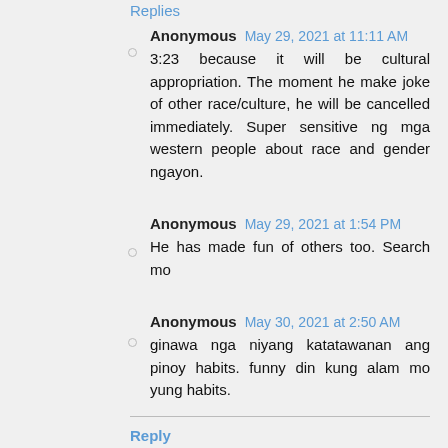Replies
Anonymous  May 29, 2021 at 11:11 AM
3:23 because it will be cultural appropriation. The moment he make joke of other race/culture, he will be cancelled immediately. Super sensitive ng mga western people about race and gender ngayon.
Anonymous  May 29, 2021 at 1:54 PM
He has made fun of others too. Search mo
Anonymous  May 30, 2021 at 2:50 AM
ginawa nga niyang katatawanan ang pinoy habits. funny din kung alam mo yung habits.
Reply